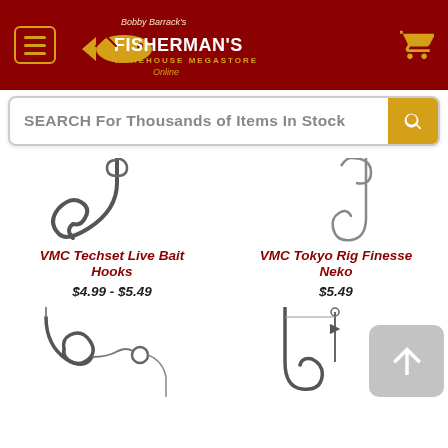[Figure (screenshot): Fisherman's Warehouse online store header with dark red background, hamburger menu button with gold border, Bobby Barrack's Fisherman's Warehouse Megastore Online logo, and gold shopping cart icon]
SEARCH For Thousands of Items In Stock
[Figure (photo): VMC Techset Live Bait Hook - fishing hook on white background, partial view from top]
VMC Techset Live Bait Hooks
$4.99 - $5.49
[Figure (photo): VMC Tokyo Rig Finesse Neko hook - thin fishing hook with straight wire, partial view from top]
VMC Tokyo Rig Finesse Neko
$5.49
[Figure (photo): Fishing hook with swivel on white background, partial bottom row]
[Figure (photo): Fishing hook on white background, partial bottom row, with scroll-to-top button overlay]